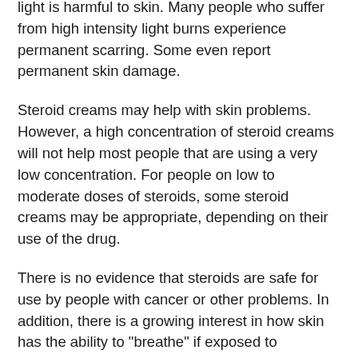light is harmful to skin. Many people who suffer from high intensity light burns experience permanent scarring. Some even report permanent skin damage.
Steroid creams may help with skin problems. However, a high concentration of steroid creams will not help most people that are using a very low concentration. For people on low to moderate doses of steroids, some steroid creams may be appropriate, depending on their use of the drug.
There is no evidence that steroids are safe for use by people with cancer or other problems. In addition, there is a growing interest in how skin has the ability to "breathe" if exposed to excessive exposure to the ultraviolet (UV) light necessary for growth.
If you are interested in steroid use for skin